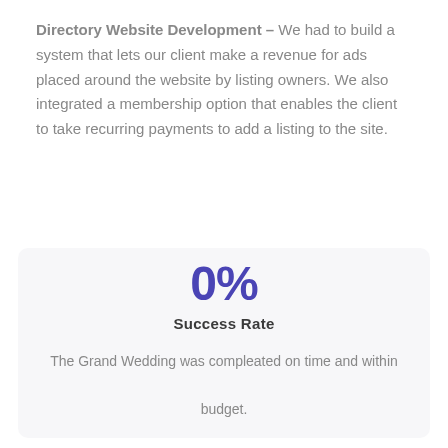Directory Website Development – We had to build a system that lets our client make a revenue for ads placed around the website by listing owners. We also integrated a membership option that enables the client to take recurring payments to add a listing to the site.
0%
Success Rate
The Grand Wedding was compleated on time and within budget.